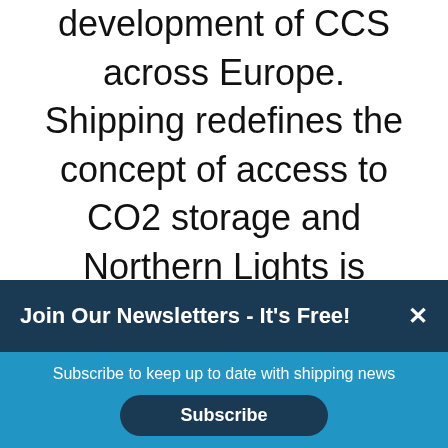development of CCS across Europe. Shipping redefines the concept of access to CO2 storage and Northern Lights is therefore well positioned to help accelerate the development of CCS”
Join Our Newsletters - It's Free! ×
Subscribe to keep up to date with shipping news
Subscribe